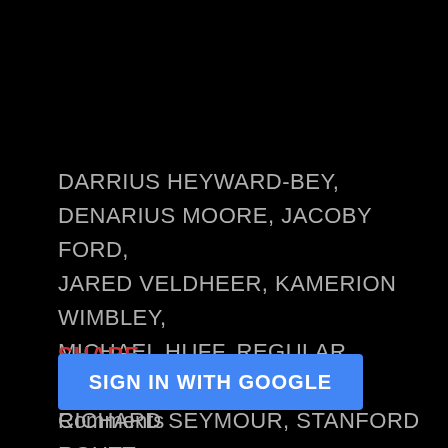DARRIUS HEYWARD-BEY, DENARIUS MOORE, JACOBY FORD, JARED VELDHEER, KAMERION WIMBLEY, MICHAEL HUFF, REGULAR SEASON 2011, RICHARD SEYMOUR, STANFORD ROUTT
SHARE
Comments
SIGN IN WITH GOOGLE